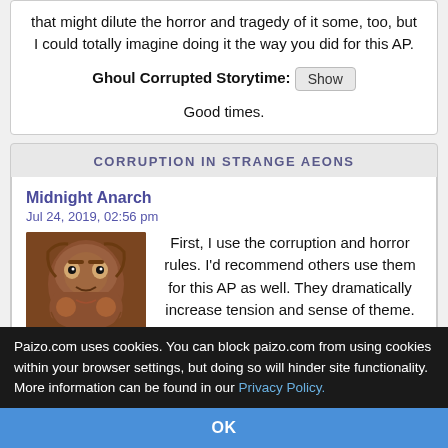that might dilute the horror and tragedy of it some, too, but I could totally imagine doing it the way you did for this AP.
Ghoul Corrupted Storytime: [Show]
Good times.
CORRUPTION IN STRANGE AEONS
Midnight Anarch
Jul 24, 2019, 02:56 pm
First, I use the corruption and horror rules. I'd recommend others use them for this AP as well. They dramatically increase tension and sense of theme.
Paizo.com uses cookies. You can block paizo.com from using cookies within your browser settings, but doing so will hinder site functionality. More information can be found in our Privacy Policy.
OK